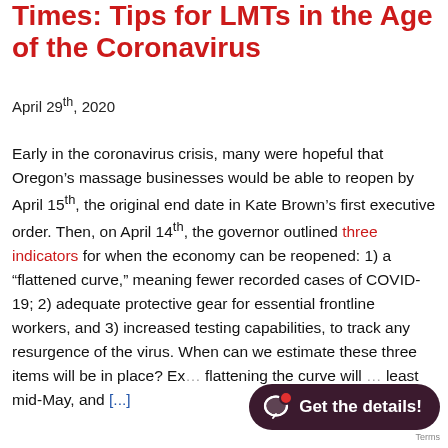Times: Tips for LMTs in the Age of the Coronavirus
April 29th, 2020
Early in the coronavirus crisis, many were hopeful that Oregon’s massage businesses would be able to reopen by April 15th, the original end date in Kate Brown’s first executive order. Then, on April 14th, the governor outlined three indicators for when the economy can be reopened: 1) a “flattened curve,” meaning fewer recorded cases of COVID-19; 2) adequate protective gear for essential frontline workers, and 3) increased testing capabilities, to track any resurgence of the virus. When can we estimate these three items will be in place? Ex… flattening the curve will … least mid-May, and [...]